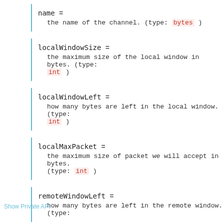name =
    the name of the channel. (type: bytes )
localWindowSize =
    the maximum size of the local window in bytes. (type: int )
localWindowLeft =
    how many bytes are left in the local window. (type: int )
localMaxPacket =
    the maximum size of packet we will accept in bytes. (type: int )
remoteWindowLeft =
    how many bytes are left in the remote window. (type: